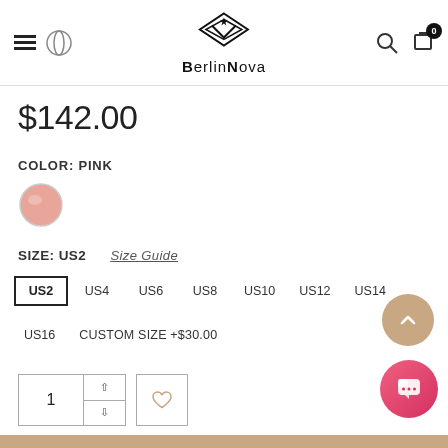Berlinnova
$142.00
COLOR: PINK
SIZE: US2  Size Guide
US2  US4  US6  US8  US10  US12  US14  US16  CUSTOM SIZE +$30.00